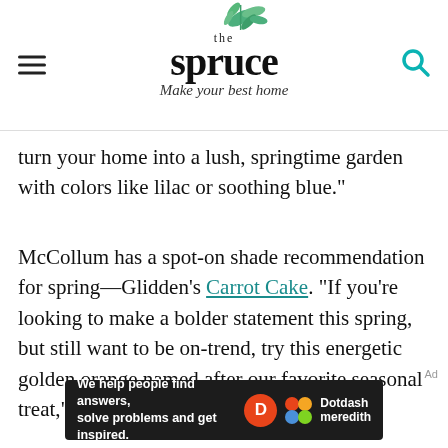the spruce — Make your best home
turn your home into a lush, springtime garden with colors like lilac or soothing blue."
McCollum has a spot-on shade recommendation for spring—Glidden's Carrot Cake. "If you're looking to make a bolder statement this spring, but still want to be on-trend, try this energetic golden orange named after our favorite seasonal treat," she says.
[Figure (other): Dotdash Meredith advertisement banner: 'We help people find answers, solve problems and get inspired.']